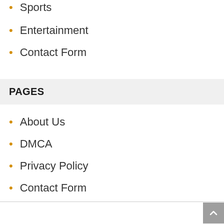Sports
Entertainment
Contact Form
PAGES
About Us
DMCA
Privacy Policy
Contact Form
Back to top button